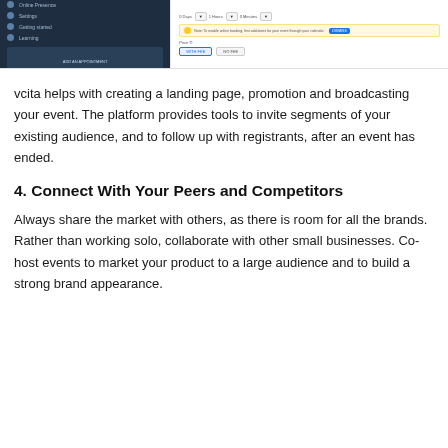[Figure (screenshot): Screenshot of vcita platform interface showing a sidebar navigation with dark background and a main panel with event booking settings, price options, and a notice about enabling online booking.]
vcita helps with creating a landing page, promotion and broadcasting your event. The platform provides tools to invite segments of your existing audience, and to follow up with registrants, after an event has ended.
4. Connect With Your Peers and Competitors
Always share the market with others, as there is room for all the brands. Rather than working solo, collaborate with other small businesses. Co-host events to market your product to a large audience and to build a strong brand appearance.